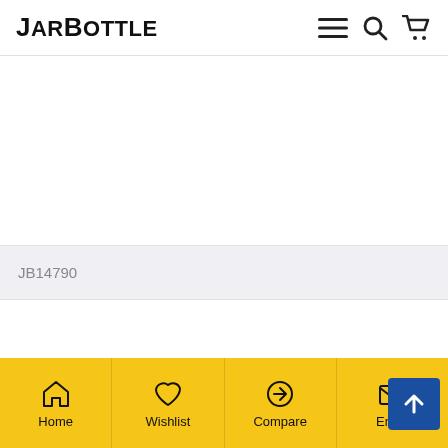JarBottle — navigation header with logo, menu, search, and cart icons
[Figure (photo): Product image area (white/blank product display area for item JB14790)]
JB14790
Bottom navigation bar with Home, Wishlist, Compare, Email icons on yellow background; blue back-to-top button